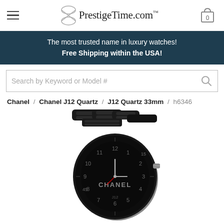PrestigeTime.com
The most trusted name in luxury watches!
Free Shipping within the USA!
Search by Keyword or Model #
Chanel / Chanel J12 Quartz / J12 Quartz 33mm / h6346
[Figure (photo): Chanel J12 Quartz 33mm black ceramic watch with bracelet, model h6346, shown at an angle displaying the black dial with Arabic numerals and Chanel branding.]